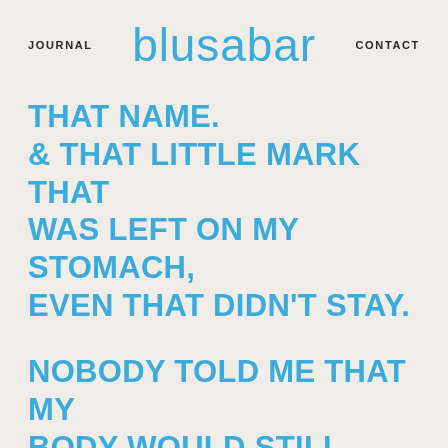JOURNAL  blusabar  CONTACT
THAT NAME.
& THAT LITTLE MARK THAT WAS LEFT ON MY STOMACH, EVEN THAT DIDN'T STAY.

NOBODY TOLD ME THAT MY BODY WOULD STILL PRODUCE MILK, & THAT BREAST MILK WOULD BE ONE OF MY